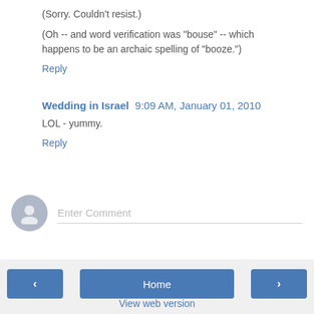(Sorry. Couldn't resist.)
(Oh -- and word verification was "bouse" -- which happens to be an archaic spelling of "booze.")
Reply
Wedding in Israel  9:09 AM, January 01, 2010
LOL - yummy.
Reply
Enter Comment
< Home > View web version